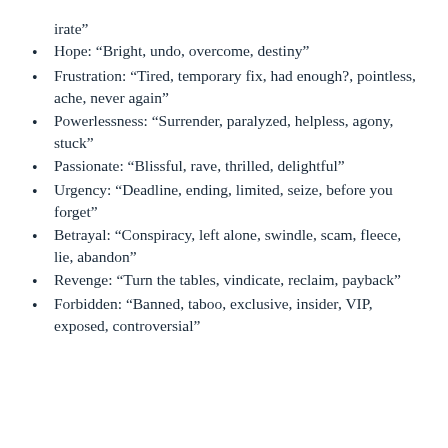irate”
Hope: “Bright, undo, overcome, destiny”
Frustration: “Tired, temporary fix, had enough?, pointless, ache, never again”
Powerlessness: “Surrender, paralyzed, helpless, agony, stuck”
Passionate: “Blissful, rave, thrilled, delightful”
Urgency: “Deadline, ending, limited, seize, before you forget”
Betrayal: “Conspiracy, left alone, swindle, scam, fleece, lie, abandon”
Revenge: “Turn the tables, vindicate, reclaim, payback”
Forbidden: “Banned, taboo, exclusive, insider, VIP, exposed, controversial”